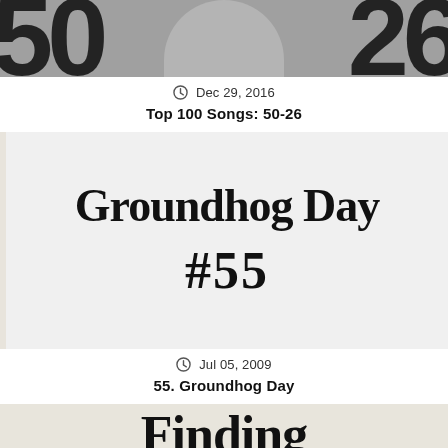[Figure (photo): Cropped image showing large bold numbers '50' and '26' overlaid on a photo of a person in white clothing against a gray background]
Dec 29, 2016
Top 100 Songs: 50-26
[Figure (photo): Image showing text 'Groundhog Day' in large serif font and '#55' below it on a light background with a torn paper edge on the left]
Jul 05, 2009
55. Groundhog Day
[Figure (photo): Partially visible image showing the word 'Finding' in large serif bold text on a tan/beige background]